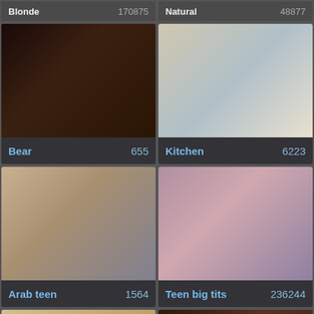Blonde 170875
Natural 48877
[Figure (photo): Bear category thumbnail - two people on a couch]
Bear 655
[Figure (photo): Kitchen category thumbnail - two people in a kitchen]
Kitchen 6223
[Figure (photo): Arab teen category thumbnail]
Arab teen 1564
[Figure (photo): Teen big tits category thumbnail]
Teen big tits 236244
[Figure (photo): Bottom left category thumbnail]
[Figure (photo): Bottom right category thumbnail]